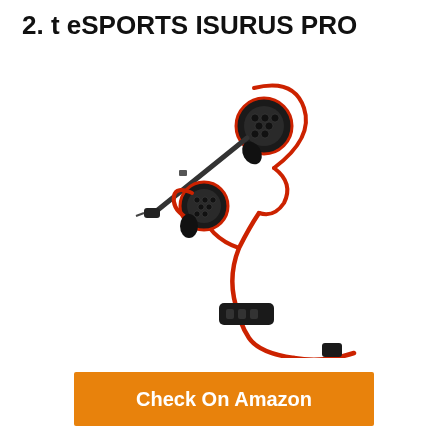2. t eSPORTS ISURUS PRO
[Figure (photo): t eSPORTS ISURUS PRO gaming in-ear headphones with red cable, black earbuds with red ear hooks, detachable microphone, and inline remote/control unit]
Check On Amazon